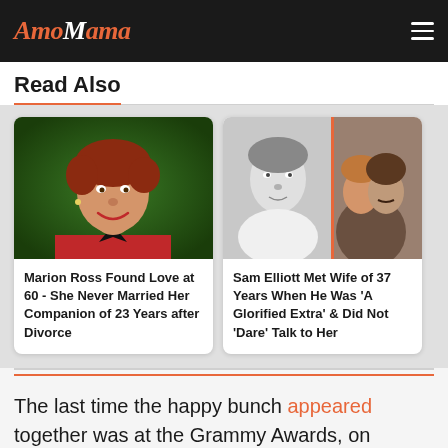AmoMama
Read Also
[Figure (photo): Marion Ross – woman with short red hair and red jacket, smiling]
Marion Ross Found Love at 60 - She Never Married Her Companion of 23 Years after Divorce
[Figure (photo): Sam Elliott – black and white photo of young man in white shirt, and color photo of couple]
Sam Elliott Met Wife of 37 Years When He Was 'A Glorified Extra' & Did Not 'Dare' Talk to Her
The last time the happy bunch appeared together was at the Grammy Awards, on February 10, 2019, at the